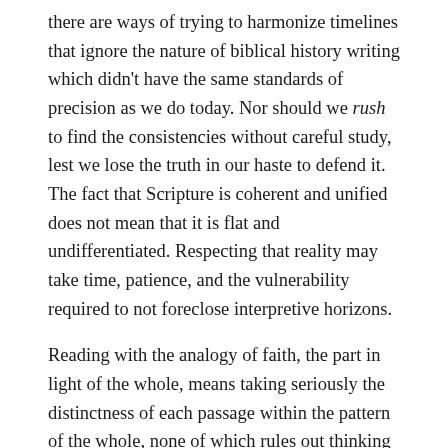there are ways of trying to harmonize timelines that ignore the nature of biblical history writing which didn't have the same standards of precision as we do today. Nor should we rush to find the consistencies without careful study, lest we lose the truth in our haste to defend it. The fact that Scripture is coherent and unified does not mean that it is flat and undifferentiated. Respecting that reality may take time, patience, and the vulnerability required to not foreclose interpretive horizons.
Reading with the analogy of faith, the part in light of the whole, means taking seriously the distinctness of each passage within the pattern of the whole, none of which rules out thinking historically, or contextually about them. That's the kind of reading allows you to appreciate from the different historical